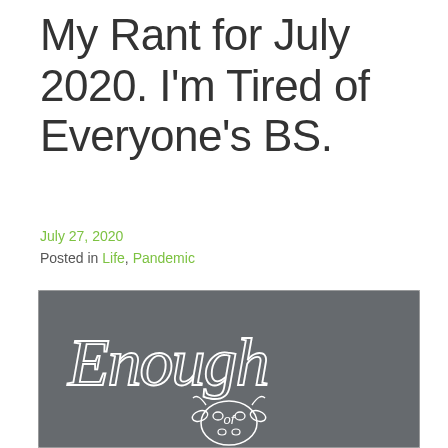My Rant for July 2020. I'm Tired of Everyone's BS.
July 27, 2020
Posted in Life, Pandemic
[Figure (illustration): Dark gray rectangular image with white cursive text reading 'Enough' and below it a line-art cow face with the word 'of' on its forehead, on a gray background.]